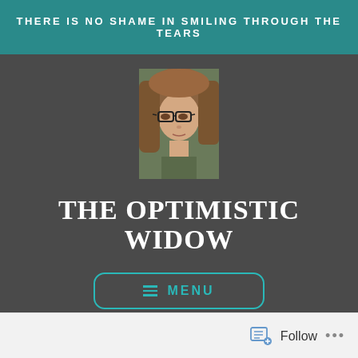THERE IS NO SHAME IN SMILING THROUGH THE TEARS
[Figure (photo): Profile photo of a woman with glasses and long brown hair]
THE OPTIMISTIC WIDOW
≡ MENU
[Figure (photo): Close-up photo of a woman's lower face showing lips and brown hair with warm tones]
Follow •••